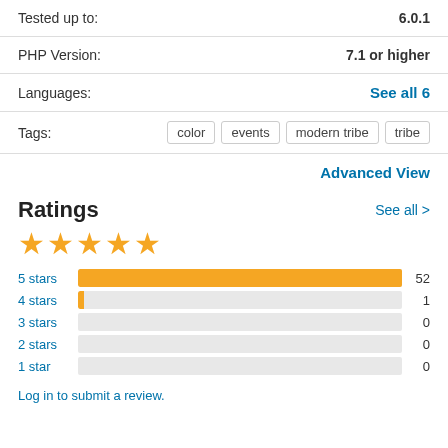| Tested up to: | 6.0.1 |
| PHP Version: | 7.1 or higher |
| Languages: | See all 6 |
| Tags: | color  events  modern tribe  tribe |
Advanced View
Ratings
[Figure (other): 4.5 star rating displayed as 4 full gold stars and 1 partial gold star]
[Figure (bar-chart): Ratings breakdown]
Log in to submit a review.